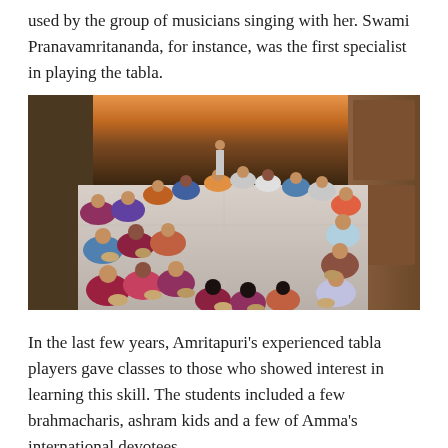used by the group of musicians singing with her. Swami Pranavamritananda, for instance, was the first specialist in playing the tabla.
[Figure (photo): A large group of people sitting in a semicircle on a marble floor indoors, each playing a tabla drum. The room has a scenic mural on the back wall and wooden cabinets on the right. The photo is taken from an elevated angle.]
In the last few years, Amritapuri's experienced tabla players gave classes to those who showed interest in learning this skill. The students included a few brahmacharis, ashram kids and a few of Amma's international devotees.